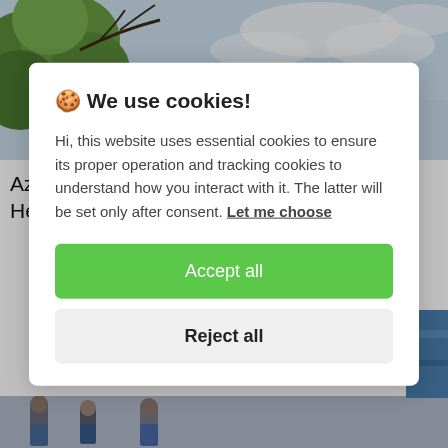[Figure (photo): Partial photo of sky and trees, top portion of news article image]
Azerbaijan Using Amphibious Aircraft, Helicopters To Extinguish Fire In S...
[Figure (screenshot): Cookie consent dialog popup with Accept all and Reject all buttons]
[Figure (photo): Partial bottom image of people, cropped at bottom of page]